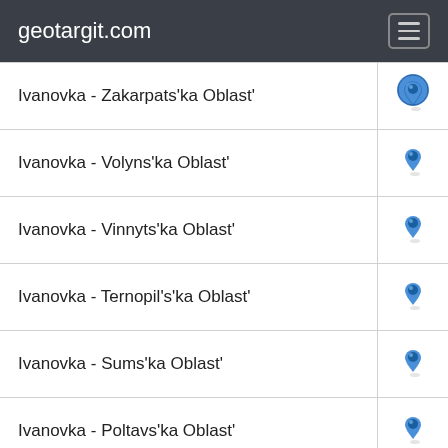geotargit.com
| Location | Map |
| --- | --- |
| Ivanovka - Zakarpats'ka Oblast' | 📍 |
| Ivanovka - Volyns'ka Oblast' | 📍 |
| Ivanovka - Vinnyts'ka Oblast' | 📍 |
| Ivanovka - Ternopil's'ka Oblast' | 📍 |
| Ivanovka - Sums'ka Oblast' | 📍 |
| Ivanovka - Poltavs'ka Oblast' | 📍 |
| Ivanovka - Odes'ka Oblast' | 📍 |
| Ivanovka - Mykolayivs'ka Oblast' | 📍 |